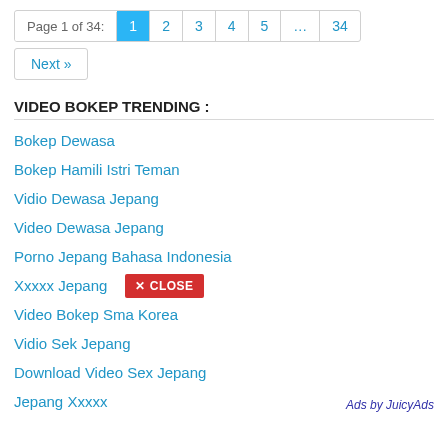Page 1 of 34: 1 2 3 4 5 … 34
Next »
VIDEO BOKEP TRENDING :
Bokep Dewasa
Bokep Hamili Istri Teman
Vidio Dewasa Jepang
Video Dewasa Jepang
Porno Jepang Bahasa Indonesia
Xxxxx Jepang
Video Bokep Sma Korea
Vidio Sek Jepang
Download Video Sex Jepang
Jepang Xxxxx
Ads by JuicyAds